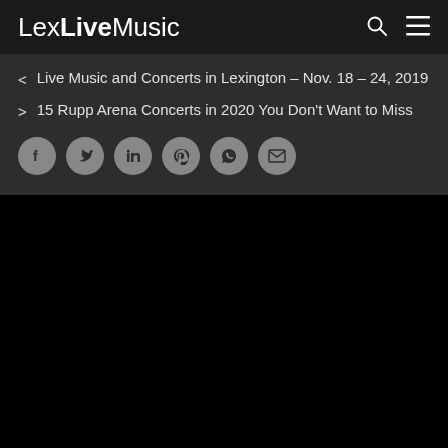LexLiveMusic
< Live Music and Concerts in Lexington – Nov. 18 – 24, 2019
> 15 Rupp Arena Concerts in 2020 You Don't Want to Miss
[Figure (infographic): Row of 6 social share icon circles: Facebook, Twitter, LinkedIn, Pinterest, WhatsApp, Email]